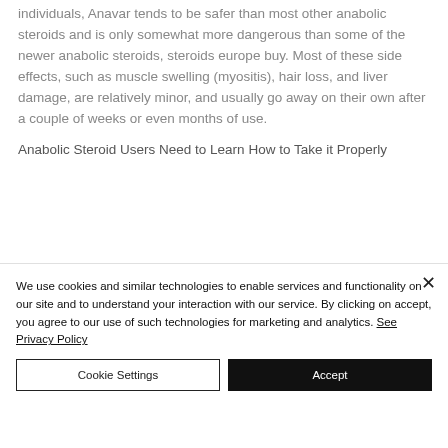individuals, Anavar tends to be safer than most other anabolic steroids and is only somewhat more dangerous than some of the newer anabolic steroids, steroids europe buy. Most of these side effects, such as muscle swelling (myositis), hair loss, and liver damage, are relatively minor, and usually go away on their own after a couple of weeks or even months of use.
Anabolic Steroid Users Need to Learn How to Take it Properly
We use cookies and similar technologies to enable services and functionality on our site and to understand your interaction with our service. By clicking on accept, you agree to our use of such technologies for marketing and analytics. See Privacy Policy